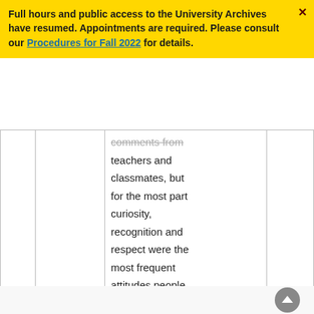Full hours and public access to the University Archives have resumed. Appointments are required. Please consult our Procedures for Fall 2022 for details.
|  |  | comments from teachers and classmates, but for the most part curiosity, recognition and respect were the most frequent attitudes people had towards this ‘daring and original student’. |  |